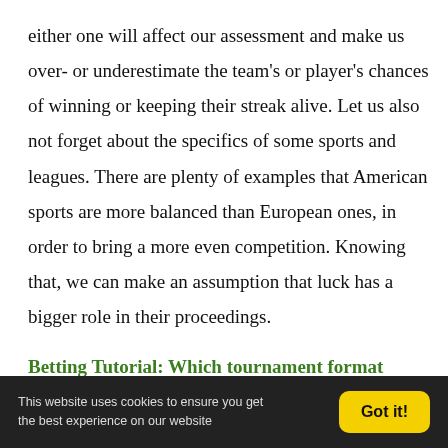either one will affect our assessment and make us over- or underestimate the team's or player's chances of winning or keeping their streak alive. Let us also not forget about the specifics of some sports and leagues. There are plenty of examples that American sports are more balanced than European ones, in order to bring a more even competition. Knowing that, we can make an assumption that luck has a bigger role in their proceedings.
Betting Tutorial: Which tournament format favours the
This website uses cookies to ensure you get the best experience on our website